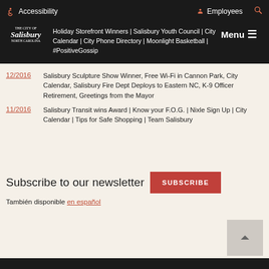Accessibility | Employees | Search
THE CITY OF Salisbury | Holiday Storefront Winners | Salisbury Youth Council | City Calendar | City Phone Directory | Moonlight Basketball | #PositiveGossip | Menu
12/2016 — Salisbury Sculpture Show Winner, Free Wi-Fi in Cannon Park, City Calendar, Salisbury Fire Dept Deploys to Eastern NC, K-9 Officer Retirement, Greetings from the Mayor
11/2016 — Salisbury Transit wins Award | Know your F.O.G. | Nixle Sign Up | City Calendar | Tips for Safe Shopping | Team Salisbury
Subscribe to our newsletter
También disponible en español